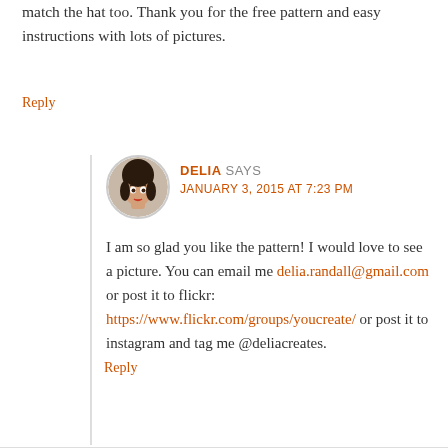match the hat too. Thank you for the free pattern and easy instructions with lots of pictures.
Reply
DELIA SAYS
JANUARY 3, 2015 AT 7:23 PM
I am so glad you like the pattern! I would love to see a picture. You can email me delia.randall@gmail.com or post it to flickr: https://www.flickr.com/groups/youcreate/ or post it to instagram and tag me @deliacreates.
Reply